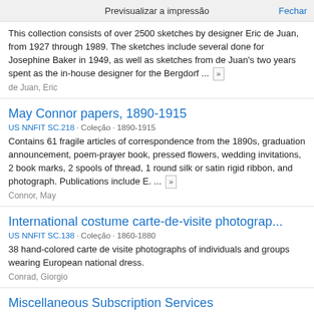Previsualizar a impressão   Fechar
This collection consists of over 2500 sketches by designer Eric de Juan, from 1927 through 1989. The sketches include several done for Josephine Baker in 1949, as well as sketches from de Juan's two years spent as the in-house designer for the Bergdorf ... »
de Juan, Eric
May Connor papers, 1890-1915
US NNFIT SC.218 · Coleção · 1890-1915
Contains 61 fragile articles of correspondence from the 1890s, graduation announcement, poem-prayer book, pressed flowers, wedding invitations, 2 book marks, 2 spools of thread, 1 round silk or satin rigid ribbon, and photograph. Publications include E. ... »
Connor, May
International costume carte-de-visite photograp...
US NNFIT SC.138 · Coleção · 1860-1880
38 hand-colored carte de visite photographs of individuals and groups wearing European national dress.
Conrad, Giorgio
Miscellaneous Subscription Services